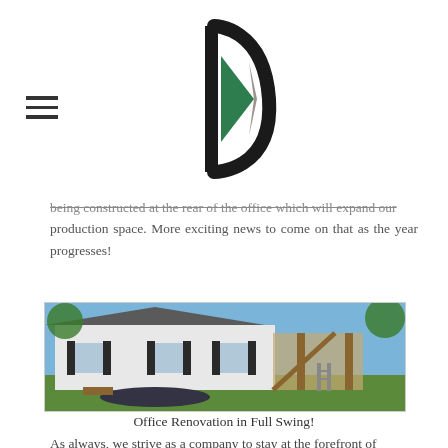[Logo: D with green left half and dark right arc] [Hamburger menu icon]
being constructed at the rear of the office which will expand our production space. More exciting news to come on that as the year progresses!
[Figure (photo): Exterior photo of a white siding office building with black shuttered windows, with construction scaffolding and wooden framing being built as an addition at the rear right side, surrounded by green lawn and trees under a blue sky.]
Office Renovation in Full Swing!
As always, we strive as a company to stay at the forefront of